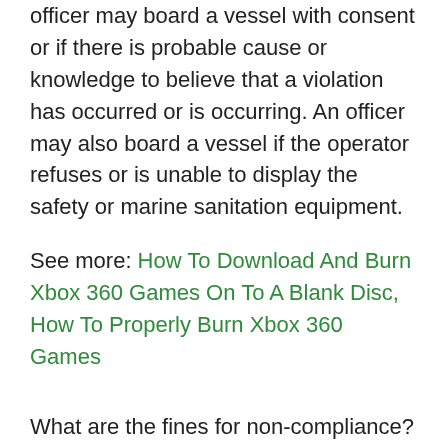officer may board a vessel with consent or if there is probable cause or knowledge to believe that a violation has occurred or is occurring. An officer may also board a vessel if the operator refuses or is unable to display the safety or marine sanitation equipment.
See more: How To Download And Burn Xbox 360 Games On To A Blank Disc, How To Properly Burn Xbox 360 Games
What are the fines for non-compliance?
$50 infraction for compliance issues$250 civil penalty for discharge of raw sewage
Share:
Last Modified:
November 9, 2020 - 5:13pm
Interested in subscribing to DEP newsletters or